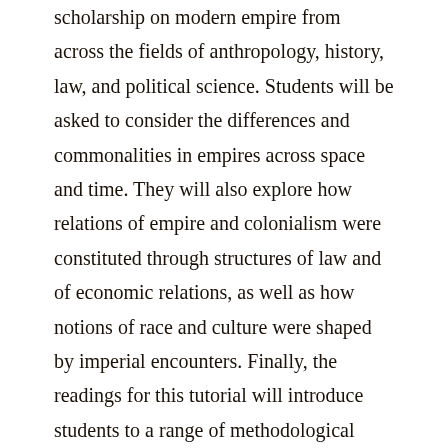scholarship on modern empire from across the fields of anthropology, history, law, and political science. Students will be asked to consider the differences and commonalities in empires across space and time. They will also explore how relations of empire and colonialism were constituted through structures of law and of economic relations, as well as how notions of race and culture were shaped by imperial encounters. Finally, the readings for this tutorial will introduce students to a range of methodological approaches to the study of empire, and will invite them to consider the